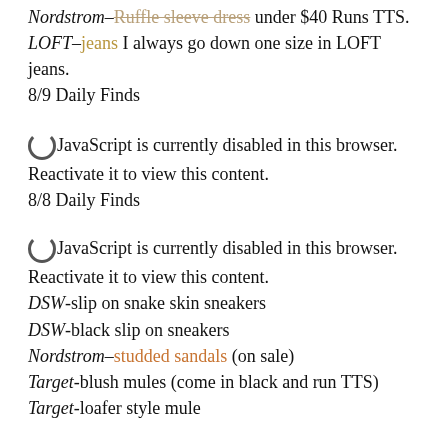Nordstrom–Ruffle sleeve dress under $40 Runs TTS. LOFT–jeans I always go down one size in LOFT jeans. 8/9 Daily Finds
JavaScript is currently disabled in this browser. Reactivate it to view this content. 8/8 Daily Finds
JavaScript is currently disabled in this browser. Reactivate it to view this content. DSW-slip on snake skin sneakers DSW-black slip on sneakers Nordstrom–studded sandals (on sale) Target-blush mules (come in black and run TTS) Target-loafer style mule
Click here to view this blog post in your browser.
!function(d,s,id){var e, p = /^http:/.test(d.location) ?